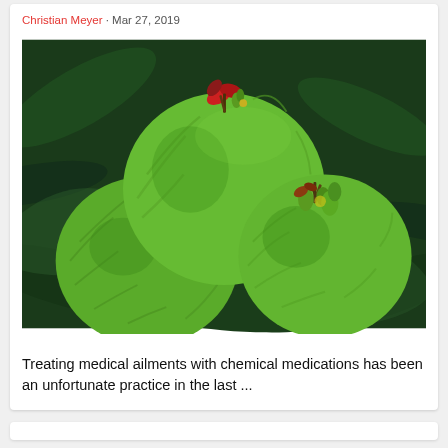Christian Meyer · Mar 27, 2019
[Figure (photo): Three green Garcinia cambogia fruits with red and brown dried flower remnants on top, clustered together against a dark green tropical leaf background.]
Treating medical ailments with chemical medications has been an unfortunate practice in the last ...